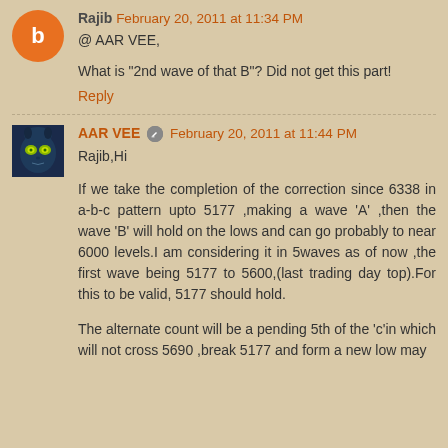Rajib February 20, 2011 at 11:34 PM
@ AAR VEE,
What is "2nd wave of that B"? Did not get this part!
Reply
AAR VEE February 20, 2011 at 11:44 PM
Rajib,Hi
If we take the completion of the correction since 6338 in a-b-c pattern upto 5177 ,making a wave 'A' ,then the wave 'B' will hold on the lows and can go probably to near 6000 levels.I am considering it in 5waves as of now ,the first wave being 5177 to 5600,(last trading day top).For this to be valid, 5177 should hold.
The alternate count will be a pending 5th of the 'c'in which will not cross 5690 ,break 5177 and form a new low may